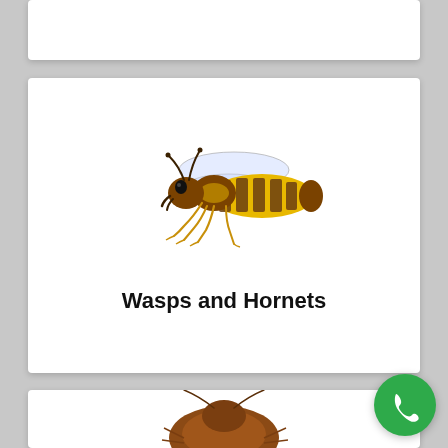[Figure (other): Partial white card visible at the top of the page, cut off]
[Figure (illustration): Yellow and black wasp/hornet illustration on a white card]
Wasps and Hornets
[Figure (illustration): Partial white card at the bottom with a cockroach visible, and a green phone call button in bottom right corner]